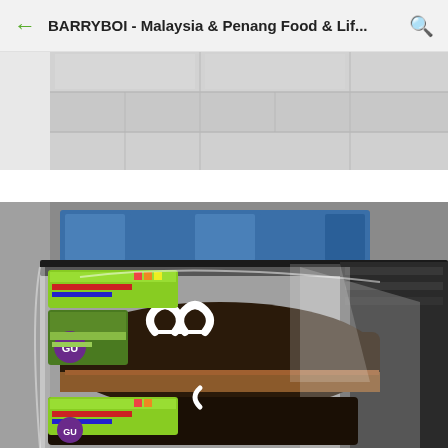BARRYBOI - Malaysia & Penang Food & Lif...
[Figure (photo): Top portion of a refrigerated display case showing gray tiled background, partially cut off at top]
[Figure (photo): Packaged bakery products (chocolate cakes with white cream decoration) in clear plastic wrap with colorful labels including GU brand, displayed in a refrigerated shop shelf with blue ice packs visible in background]